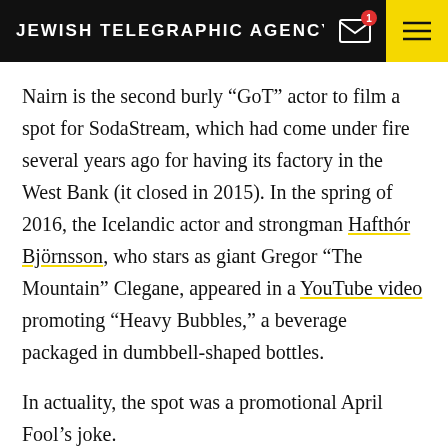JEWISH TELEGRAPHIC AGENCY
Nairn is the second burly “GoT” actor to film a spot for SodaStream, which had come under fire several years ago for having its factory in the West Bank (it closed in 2015). In the spring of 2016, the Icelandic actor and strongman Hafthór Björnsson, who stars as giant Gregor “The Mountain” Clegane, appeared in a YouTube video promoting “Heavy Bubbles,” a beverage packaged in dumbbell-shaped bottles.
In actuality, the spot was a promotional April Fool’s joke.
“I’m always open to new techniques for exercising, but